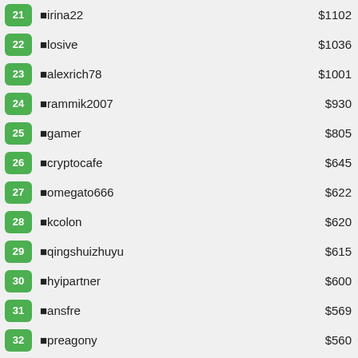21 irina22 $1102
22 losive $1036
23 alexrich78 $1001
24 rammik2007 $930
25 gamer $805
26 cryptocafe $645
27 omegato666 $622
28 kcolon $620
29 qingshuizhuyu $615
30 hyipartner $600
31 ansfre $569
32 preagony $560
33 melanoblasts $555
34 sou $530
35 daewoohh $511
36 gam3rboy $501
37 hork $500
38 smartinvest $500
39 kacemtrans $498